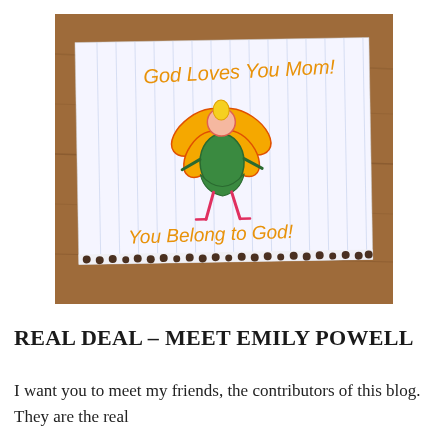[Figure (photo): A photograph of a child's hand-drawn picture on lined notebook paper, placed on a wooden table. The drawing shows a fairy or angel figure with orange/yellow wings wearing a green dress, and handwritten text in orange crayon reading 'God Loves You Mom!' at the top and 'You Belong to God!' at the bottom. The bottom of the paper has a torn perforated edge with dark dots.]
REAL DEAL – MEET EMILY POWELL
I want you to meet my friends, the contributors of this blog. They are the real